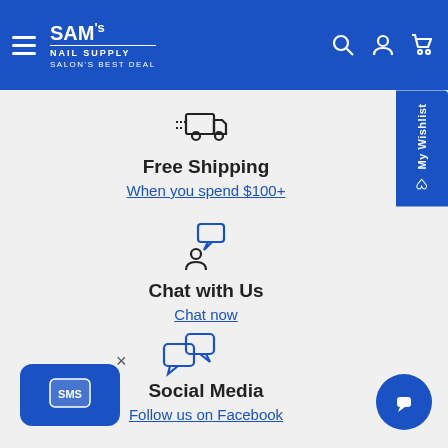SAM's NAIL SUPPLY - SALON'S BEST DEAL
[Figure (illustration): Fast delivery truck icon with speed lines]
Free Shipping
When you spend $100+
[Figure (illustration): Person with chat bubble icon]
Chat with Us
Chat now
[Figure (illustration): Two chat/speech bubble icons]
Social Media
Follow us on Facebook